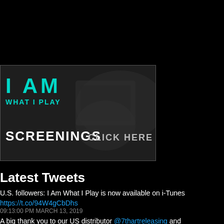[Figure (illustration): I Am What I Play Screenings banner with teal/cyan text on dark background with camera imagery, 'CLICK HERE' prompt]
Latest Tweets
U.S. followers: I Am What I Play is now available on i-Tunes https://t.co/94W4gCbDhs
09:13:00 PM MARCH 13, 2019
A big thank you to our US distributor @7thartreleasing and international distributor @BlueAntMedia for continuing t... https://t.co/C4E1I12uS0